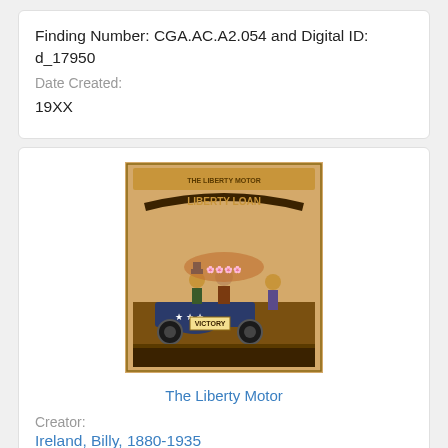Finding Number: CGA.AC.A2.054 and Digital ID: d_17950
Date Created:
19XX
[Figure (illustration): Vintage sepia-toned illustration showing 'The Liberty Motor' — a cartoon with patriotic American figures on a motorized vehicle labeled 'VICTORY' under a banner reading 'LIBERTY LOAN'.]
The Liberty Motor
Creator:
Ireland, Billy, 1880-1935
Identifier:
Digital ID: d_2326 and Finding Number: